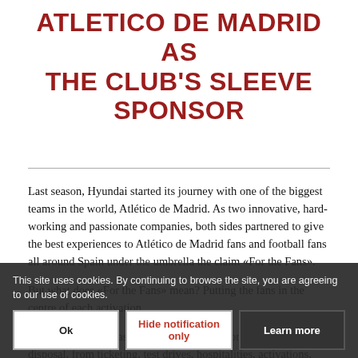ATLETICO DE MADRID AS THE CLUB'S SLEEVE SPONSOR
Last season, Hyundai started its journey with one of the biggest teams in the world, Atlético de Madrid. As two innovative, hard-working and passionate companies, both sides partnered to give the best experiences to Atlético de Madrid fans and football fans all around Spain under the umbrella the claim «For the Fans».
But what does «For the Fans» mean? Putting the fans in the centre of each activation.
For that reason, all assets that Hyundai Motor Spain had at its disposal, from ticketing, test drives, hospitalities, activations, car...